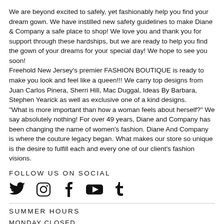We are beyond excited to safely, yet fashionably help you find your dream gown. We have instilled new safety guidelines to make Diane & Company a safe place to shop! We love you and thank you for support through these hardships, but we are ready to help you find the gown of your dreams for your special day! We hope to see you soon!
Freehold New Jersey's premier FASHION BOUTIQUE is ready to make you look and feel like a queen!!! We carry top designs from Juan Carlos Pinera, Sherri Hill, Mac Duggal, Ideas By Barbara, Stephen Yearick as well as exclusive one of a kind designs.
"What is more important than how a woman feels about herself?" We say absolutely nothing! For over 49 years, Diane and Company has been changing the name of women's fashion. Diane And Company is where the couture legacy began. What makes our store so unique is the desire to fulfill each and every one of our client's fashion visions.
FOLLOW US ON SOCIAL
[Figure (infographic): Social media icons: Twitter, Instagram, Facebook, YouTube, Tumblr]
SUMMER HOURS
MONDAY CLOSED